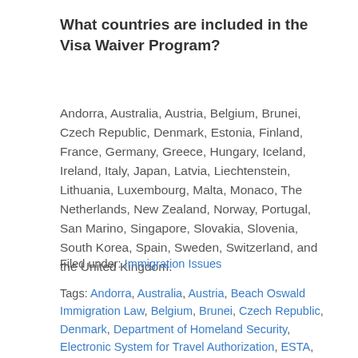What countries are included in the Visa Waiver Program?
Andorra, Australia, Austria, Belgium, Brunei, Czech Republic, Denmark, Estonia, Finland, France, Germany, Greece, Hungary, Iceland, Ireland, Italy, Japan, Latvia, Liechtenstein, Lithuania, Luxembourg, Malta, Monaco, The Netherlands, New Zealand, Norway, Portugal, San Marino, Singapore, Slovakia, Slovenia, South Korea, Spain, Sweden, Switzerland, and the United Kingdom.
Filed under: Immigration Issues
Tags: Andorra, Australia, Austria, Beach Oswald Immigration Law, Belgium, Brunei, Czech Republic, Denmark, Department of Homeland Security, Electronic System for Travel Authorization, ESTA, Estonia, fee, Finland, France, Germany, Greece, Hungary, Iceland, Immigration, Ireland, Italy, Japan